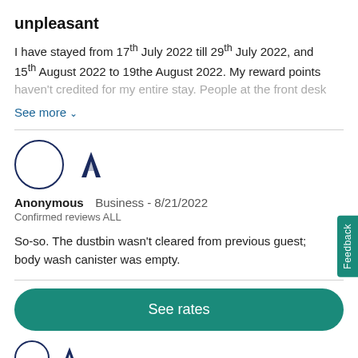unpleasant
I have stayed from 17th July 2022 till 29th July 2022, and 15th August 2022 to 19the August 2022. My reward points haven't credited for my entire stay. People at the front desk
See more ∨
Anonymous   Business - 8/21/2022
Confirmed reviews ALL
So-so. The dustbin wasn't cleared from previous guest; body wash canister was empty.
See rates